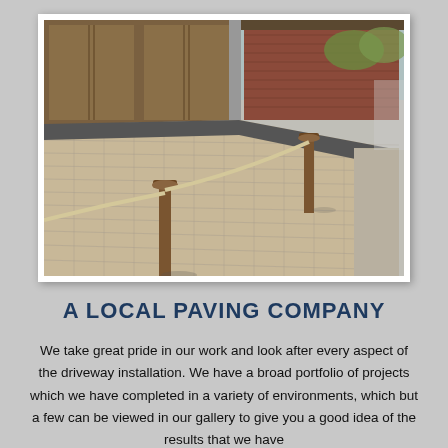[Figure (photo): Aerial-angle photograph of a newly installed block paving driveway with dark grey border strips, wooden rope bollards in the foreground, and a brick building with wooden garage doors in the background.]
A LOCAL PAVING COMPANY
We take great pride in our work and look after every aspect of the driveway installation. We have a broad portfolio of projects which we have completed in a variety of environments, which but a few can be viewed in our gallery to give you a good idea of the results that we have